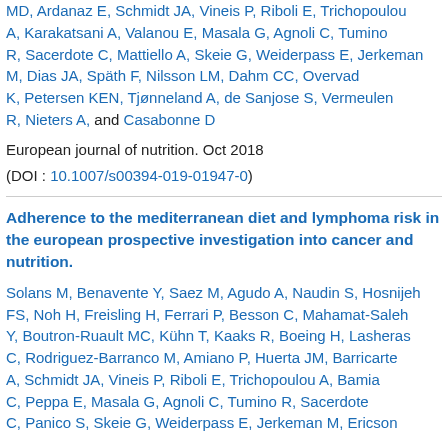MD, Ardanaz E, Schmidt JA, Vineis P, Riboli E, Trichopoulou A, Karakatsani A, Valanou E, Masala G, Agnoli C, Tumino R, Sacerdote C, Mattiello A, Skeie G, Weiderpass E, Jerkeman M, Dias JA, Späth F, Nilsson LM, Dahm CC, Overvad K, Petersen KEN, Tjønneland A, de Sanjose S, Vermeulen R, Nieters A, and Casabonne D
European journal of nutrition. Oct 2018
(DOI : 10.1007/s00394-019-01947-0)
Adherence to the mediterranean diet and lymphoma risk in the european prospective investigation into cancer and nutrition.
Solans M, Benavente Y, Saez M, Agudo A, Naudin S, Hosnijeh FS, Noh H, Freisling H, Ferrari P, Besson C, Mahamat-Saleh Y, Boutron-Ruault MC, Kühn T, Kaaks R, Boeing H, Lasheras C, Rodriguez-Barranco M, Amiano P, Huerta JM, Barricarte A, Schmidt JA, Vineis P, Riboli E, Trichopoulou A, Bamia C, Peppa E, Masala G, Agnoli C, Tumino R, Sacerdote C, Panico S, Skeie G, Weiderpass E, Jerkeman M, Ericson